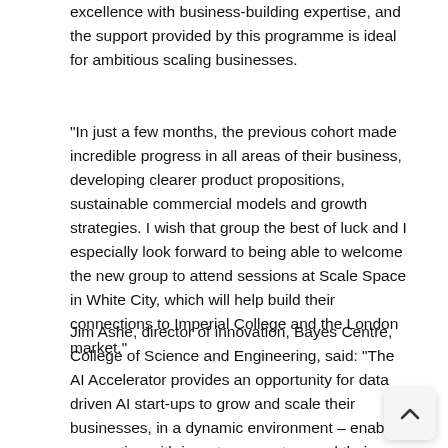excellence with business-building expertise, and the support provided by this programme is ideal for ambitious scaling businesses.
“In just a few months, the previous cohort made incredible progress in all areas of their business, developing clearer product propositions, sustainable commercial models and growth strategies. I wish that group the best of luck and I especially look forward to being able to welcome the new group to attend sessions at Scale Space in White City, which will help build their connections to Imperial College and the London market.”
Jim Ashe, director of innovation, Bayes Centre, College of Science and Engineering, said: “The AI Accelerator provides an opportunity for data driven AI start-ups to grow and scale their businesses, in a dynamic environment – enabling connectio… with investors, mentors and their peers. The cohort will ha… access to the invaluable resources that the Bayes Centre